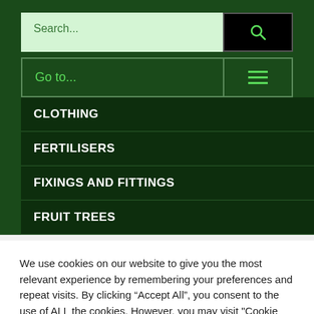[Figure (screenshot): Search bar with light green background and black search button with magnifying glass icon]
Go to...
CLOTHING
FERTILISERS
FIXINGS AND FITTINGS
FRUIT TREES
We use cookies on our website to give you the most relevant experience by remembering your preferences and repeat visits. By clicking “Accept All”, you consent to the use of ALL the cookies. However, you may visit "Cookie Settings" to provide a controlled consent.
Cookie Settings
Accept All